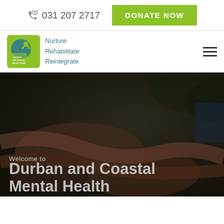031 207 2717   DONATE NOW
[Figure (logo): Durban and Coastal Mental Health logo with tagline Nurture Rehabilitate Reintegrate]
[Figure (photo): Dark background photo of human hands/arms, used as hero banner image]
Welcome to
Durban and Coastal Mental Health